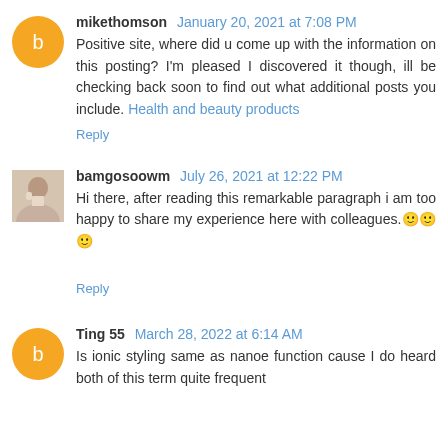mikethomson January 20, 2021 at 7:08 PM
Positive site, where did u come up with the information on this posting? I'm pleased I discovered it though, ill be checking back soon to find out what additional posts you include. Health and beauty products
Reply
bamgosoowm July 26, 2021 at 12:22 PM
Hi there, after reading this remarkable paragraph i am too happy to share my experience here with colleagues.🙂🙂🙂
Reply
Ting 55 March 28, 2022 at 6:14 AM
Is ionic styling same as nanoe function cause I do heard both of this term quite frequent